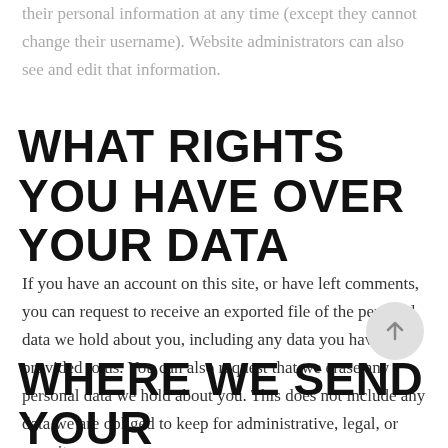their personal information at any time (except they cannot change their username). Website administrators can also see and edit that information.
WHAT RIGHTS YOU HAVE OVER YOUR DATA
If you have an account on this site, or have left comments, you can request to receive an exported file of the personal data we hold about you, including any data you have provided to us. You can also request that we erase any personal data we hold about you. This does not include any data we are obliged to keep for administrative, legal, or security purposes.
WHERE WE SEND YOUR